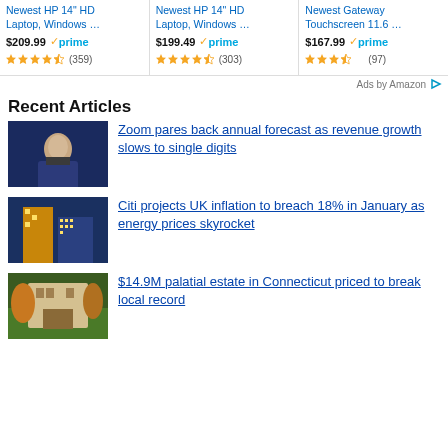[Figure (screenshot): Amazon ad: Newest HP 14" HD Laptop, Windows ... $209.99 prime, 3.5 stars (359)]
[Figure (screenshot): Amazon ad: Newest HP 14" HD Laptop, Windows ... $199.49 prime, 3.5 stars (303)]
[Figure (screenshot): Amazon ad: Newest Gateway Touchscreen 11.6 ... $167.99 prime, 3.5 stars (97)]
Ads by Amazon
Recent Articles
[Figure (photo): Man in dark suit speaking, blue background]
Zoom pares back annual forecast as revenue growth slows to single digits
[Figure (photo): Tall office building at night with lights, blue sky]
Citi projects UK inflation to breach 18% in January as energy prices skyrocket
[Figure (photo): Large palatial estate building surrounded by trees]
$14.9M palatial estate in Connecticut priced to break local record